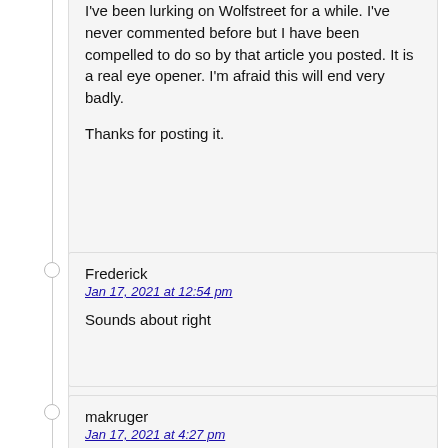I've been lurking on Wolfstreet for a while. I've never commented before but I have been compelled to do so by that article you posted. It is a real eye opener. I'm afraid this will end very badly.

Thanks for posting it.
Frederick
Jan 17, 2021 at 12:54 pm

Sounds about right
makruger
Jan 17, 2021 at 4:27 pm

Sounds pretty spot on